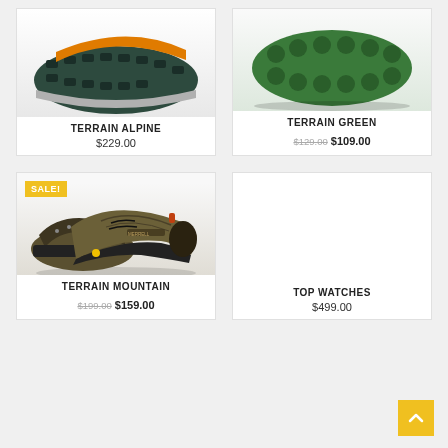[Figure (photo): Close-up of the sole/bottom of a dark green and orange hiking boot (Terrain Alpine), cropped top portion showing tread and upper.]
TERRAIN ALPINE
$229.00
[Figure (photo): Close-up of green rubber lugged sole of a hiking shoe (Terrain Green), viewed from below, with green tread pattern visible.]
TERRAIN GREEN
$129.00 $109.00
[Figure (photo): Pair of Merrell Terrain Mountain hiking shoes in olive/brown and black, shown on white background with SALE! badge in yellow.]
TERRAIN MOUNTAIN
$199.00 $159.00
[Figure (photo): Empty white space representing the Top Watches product card image area.]
TOP WATCHES
$499.00